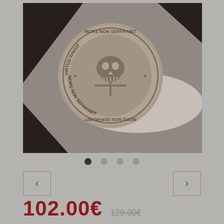[Figure (photo): Close-up photograph of a metal coin/medallion with a skull and crossbones design in the center, surrounded by text reading 'VIRTUS IUNGIT MORS NON SEPARABIT', placed on a white surface with dark background. Sepia/monochrome tone.]
102.00€  129.00€
AVAILABLE OPTIONS